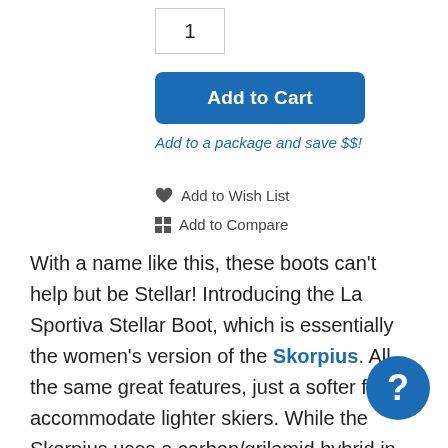1
Add to Cart
Add to a package and save $$!
Add to Wish List
Add to Compare
With a name like this, these boots can't help but be Stellar! Introducing the La Sportiva Stellar Boot, which is essentially the women's version of the Skorpius. All the same great features, just a softer flex to accommodate lighter skiers. While the Skorpius uses a carbon/grilamid hybrid in the cuff and shell, the Stellar is pure grilamid, which softens the boot and also makes it less expensive (being small has its benefits). The Spider Buckle Evo closure system gives these boots a smooth and even feel